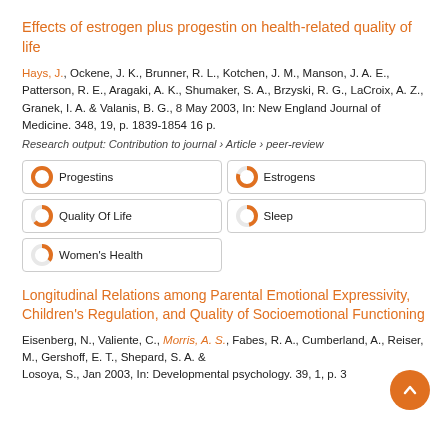Effects of estrogen plus progestin on health-related quality of life
Hays, J., Ockene, J. K., Brunner, R. L., Kotchen, J. M., Manson, J. A. E., Patterson, R. E., Aragaki, A. K., Shumaker, S. A., Brzyski, R. G., LaCroix, A. Z., Granek, I. A. & Valanis, B. G., 8 May 2003, In: New England Journal of Medicine. 348, 19, p. 1839-1854 16 p.
Research output: Contribution to journal › Article › peer-review
Progestins
Estrogens
Quality Of Life
Sleep
Women's Health
Longitudinal Relations among Parental Emotional Expressivity, Children's Regulation, and Quality of Socioemotional Functioning
Eisenberg, N., Valiente, C., Morris, A. S., Fabes, R. A., Cumberland, A., Reiser, M., Gershoff, E. T., Shepard, S. A. & Losoya, S., Jan 2003, In: Developmental psychology. 39, 1, p. 3